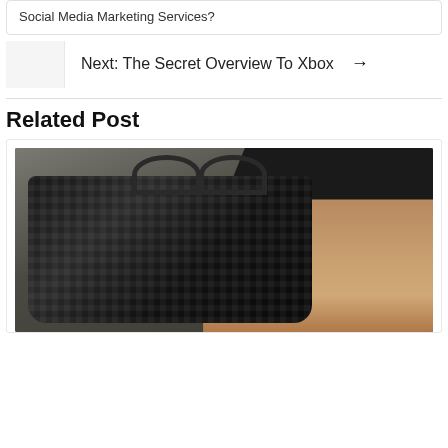Social Media Marketing Services?
Next: The Secret Overview To Xbox →
Related Post
[Figure (photo): Fashion photo of a woman in a black outfit holding a large black snakeskin-textured handbag, posed against a neutral grey-brown background.]